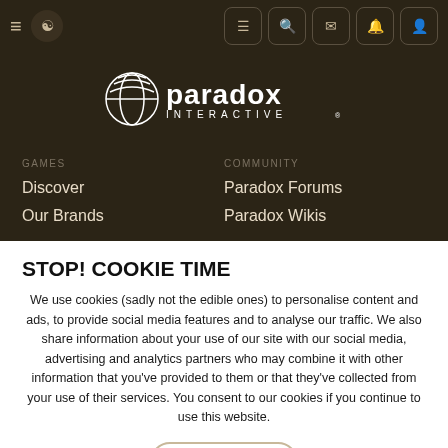Paradox Interactive navigation bar with hamburger menu, logo, and icons for feed, search, mail, notifications, account
[Figure (logo): Paradox Interactive logo: stylized globe/dragon head icon with text 'paradox INTERACTIVE']
GAMES
COMMUNITY
Discover
Paradox Forums
Our Brands
Paradox Wikis
STOP! COOKIE TIME
We use cookies (sadly not the edible ones) to personalise content and ads, to provide social media features and to analyse our traffic. We also share information about your use of our site with our social media, advertising and analytics partners who may combine it with other information that you've provided to them or that they've collected from your use of their services. You consent to our cookies if you continue to use this website.
✓ ACCEPT